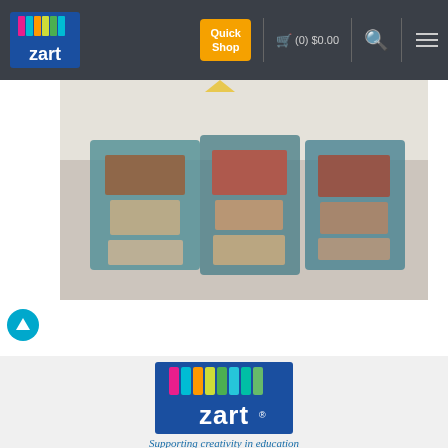Zart - Quick Shop - (0) $0.00
[Figure (photo): Blurred photo of colorful art supply boxes/containers arranged together, with teal, brown, red, and cream colors visible]
[Figure (logo): Zart logo - blue background with colorful vertical stripes (pink, teal, orange, yellow, green, cyan) above white 'zart' text with registered trademark symbol]
Supporting creativity in education
Contact Us